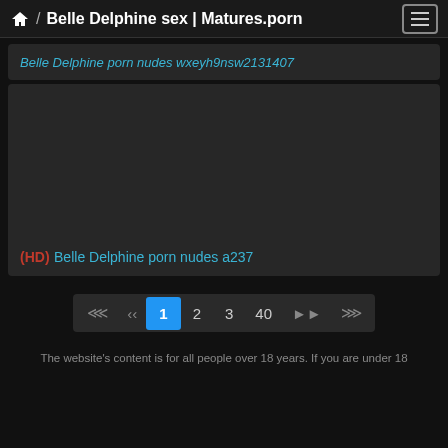🏠 / Belle Delphine sex | Matures.porn
Belle Delphine porn nudes wxeyh9nsw2131407
[Figure (screenshot): Dark video thumbnail placeholder with text: (HD) Belle Delphine porn nudes a237]
Pagination: first, prev, 1 (active), 2, 3, 40, next, last
The website's content is for all people over 18 years. If you are under 18